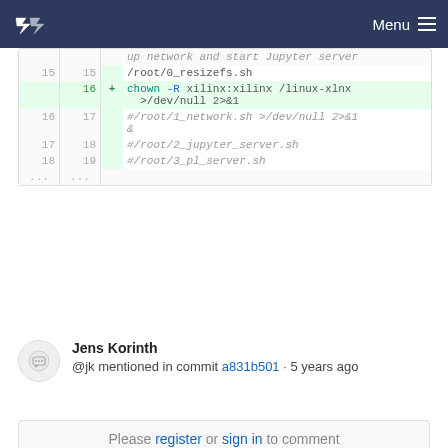Menu
[Figure (screenshot): Code diff showing lines 15-19 with line 16 added: chown -R xilinx:xilinx /linux-xlnx >/dev/null 2>&1]
Jens Korinth
@jk mentioned in commit a831b501 · 5 years ago
Please register or sign in to comment